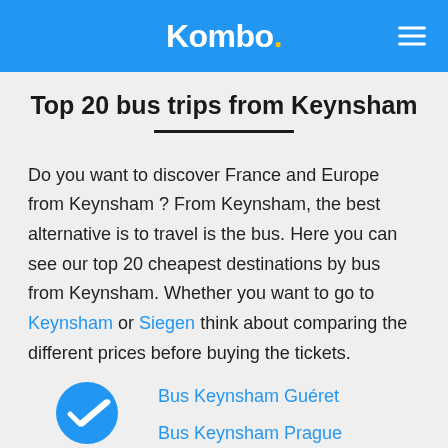Kombo.
Top 20 bus trips from Keynsham
Do you want to discover France and Europe from Keynsham ? From Keynsham, the best alternative is to travel is the bus. Here you can see our top 20 cheapest destinations by bus from Keynsham. Whether you want to go to Keynsham or Siegen think about comparing the different prices before buying the tickets.
Bus Keynsham Guéret
Bus Keynsham Prague
Bus Keynsham Salerno
Bus Keynsham Aichach